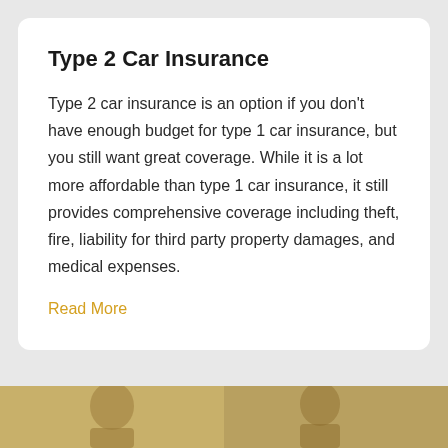Type 2 Car Insurance
Type 2 car insurance is an option if you don’t have enough budget for type 1 car insurance, but you still want great coverage. While it is a lot more affordable than type 1 car insurance, it still provides comprehensive coverage including theft, fire, liability for third party property damages, and medical expenses.
Read More
[Figure (photo): Photo strip at the bottom showing people, partially cropped, with warm tan/golden background tones]